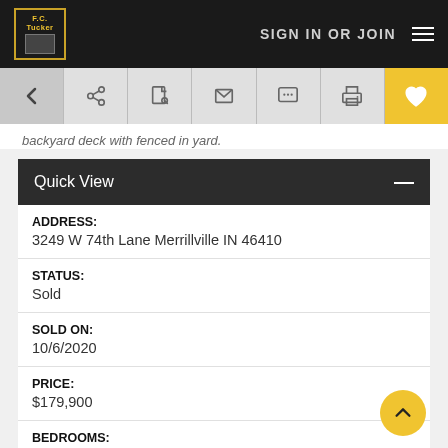SIGN IN OR JOIN
backyard deck with fenced in yard.
Quick View
ADDRESS:
3249 W 74th Lane Merrillville IN 46410
STATUS:
Sold
SOLD ON:
10/6/2020
PRICE:
$179,900
BEDROOMS: